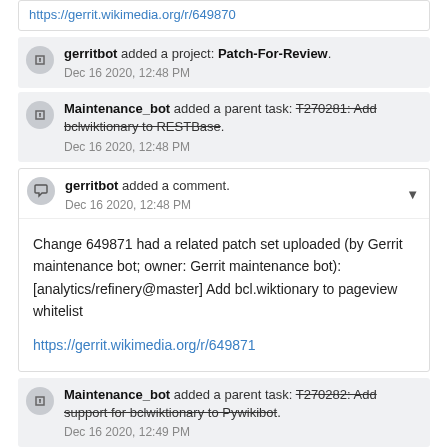https://gerrit.wikimedia.org/r/649870
gerritbot added a project: Patch-For-Review. Dec 16 2020, 12:48 PM
Maintenance_bot added a parent task: T270281: Add bclwiktionary to RESTBase. Dec 16 2020, 12:48 PM
gerritbot added a comment. Dec 16 2020, 12:48 PM
Change 649871 had a related patch set uploaded (by Gerrit maintenance bot; owner: Gerrit maintenance bot): [analytics/refinery@master] Add bcl.wiktionary to pageview whitelist
https://gerrit.wikimedia.org/r/649871
Maintenance_bot added a parent task: T270282: Add support for bclwiktionary to Pywikibot. Dec 16 2020, 12:49 PM